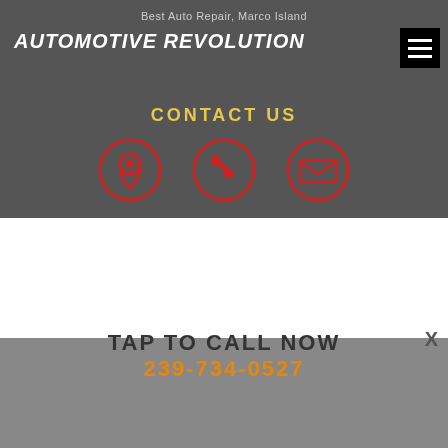Best Auto Repair, Marco Island
AUTOMOTIVE REVOLUTION
CONTACT US
[Figure (infographic): Three red circular icons: map pin / location icon, phone icon, and envelope / email icon]
239-734-0527 | 939 Chalmers Dr #10 Marco Island, FL 23145
SIGNS THAT YOUR CAR NEEDS A MECHANIC
TAP TO CALL NOW
239-734-0527